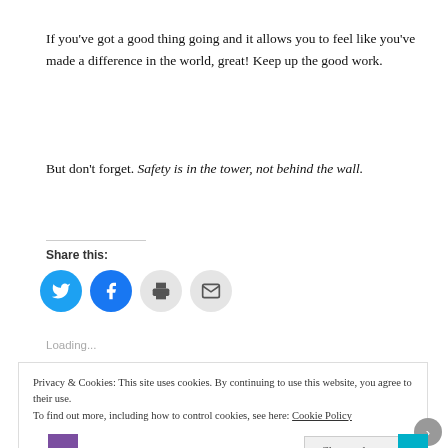If you’ve got a good thing going and it allows you to feel like you’ve made a difference in the world, great! Keep up the good work.
But don’t forget. Safety is in the tower, not behind the wall.
Share this:
[Figure (infographic): Social share buttons: Twitter (blue circle), Facebook (blue circle), Print (grey circle), Email (grey circle)]
Loading...
Privacy & Cookies: This site uses cookies. By continuing to use this website, you agree to their use. To find out more, including how to control cookies, see here: Cookie Policy
Close and accept